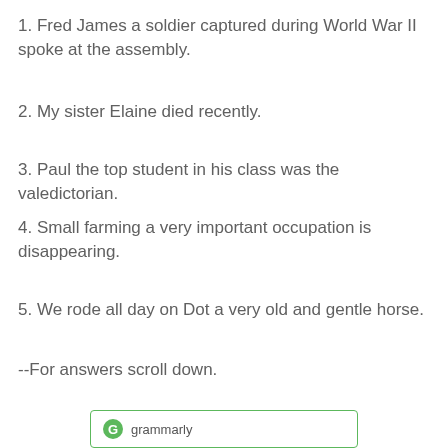1. Fred James a soldier captured during World War II spoke at the assembly.
2. My sister Elaine died recently.
3. Paul the top student in his class was the valedictorian.
4. Small farming a very important occupation is disappearing.
5. We rode all day on Dot a very old and gentle horse.
--For answers scroll down.
[Figure (logo): Grammarly logo with green circular G icon and the word 'grammarly' in grey text inside a green-bordered box]